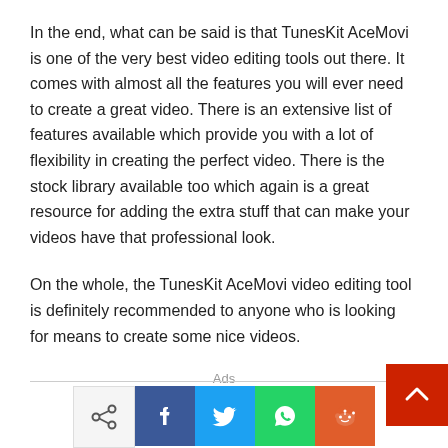In the end, what can be said is that TunesKit AceMovi is one of the very best video editing tools out there. It comes with almost all the features you will ever need to create a great video. There is an extensive list of features available which provide you with a lot of flexibility in creating the perfect video. There is the stock library available too which again is a great resource for adding the extra stuff that can make your videos have that professional look.
On the whole, the TunesKit AceMovi video editing tool is definitely recommended to anyone who is looking for means to create some nice videos.
Ads